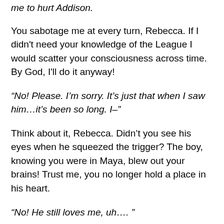me to hurt Addison.
You sabotage me at every turn, Rebecca. If I didn't need your knowledge of the League I would scatter your consciousness across time. By God, I'll do it anyway!
“No! Please. I’m sorry. It’s just that when I saw him…it’s been so long. I–”
Think about it, Rebecca. Didn’t you see his eyes when he squeezed the trigger? The boy, knowing you were in Maya, blew out your brains! Trust me, you no longer hold a place in his heart.
“No! He still loves me, uh…. ”
My mind…compresses…a fist closing around